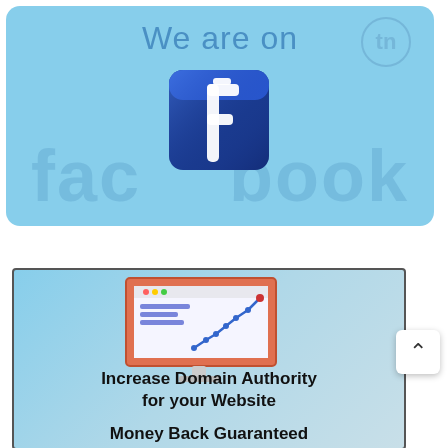[Figure (illustration): Light blue banner with 'We are on' text and a 3D Facebook logo icon in the center, with the word 'facebook' as a faded background watermark and a circular TN logo in the top right corner.]
[Figure (infographic): Light blue banner showing a desktop monitor with an upward trending line chart on screen, with bold black text reading 'Increase Domain Authority for your Website' and 'Money Back Guaranteed'. A white scroll-up button appears at the right edge.]